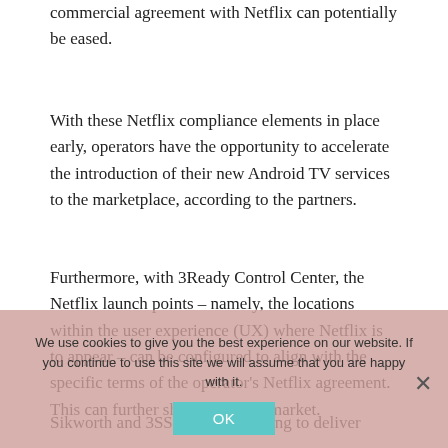commercial agreement with Netflix can potentially be eased.
With these Netflix compliance elements in place early, operators have the opportunity to accelerate the introduction of their new Android TV services to the marketplace, according to the partners.
Furthermore, with 3Ready Control Center, the Netflix launch points – namely, the locations within the user experience (UX) where Netflix is to appear – can be configured to align with the specific terms of the operator's Netflix agreement. This can further shorten time to market.
Sikworth and 3SS are collaborating to deliver
We use cookies to give you the best experience on our website. If you continue to use this site we will assume that you are happy with it.